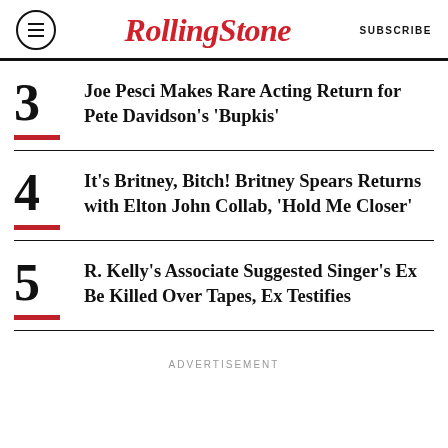RollingStone SUBSCRIBE
3 Joe Pesci Makes Rare Acting Return for Pete Davidson's 'Bupkis'
4 It's Britney, Bitch! Britney Spears Returns with Elton John Collab, 'Hold Me Closer'
5 R. Kelly's Associate Suggested Singer's Ex Be Killed Over Tapes, Ex Testifies
ADVERTISEMENT